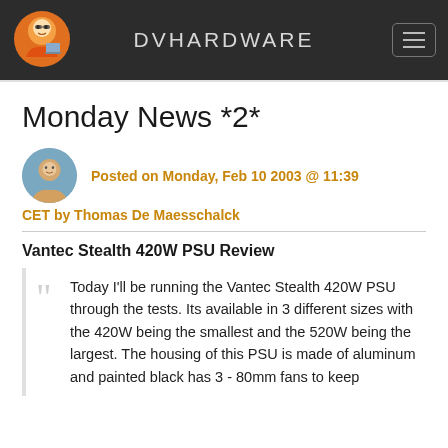DVHARDWARE
Monday News *2*
Posted on Monday, Feb 10 2003 @ 11:39 CET by Thomas De Maesschalck
Vantec Stealth 420W PSU Review
Today I'll be running the Vantec Stealth 420W PSU through the tests. Its available in 3 different sizes with the 420W being the smallest and the 520W being the largest. The housing of this PSU is made of aluminum and painted black has 3 - 80mm fans to keep